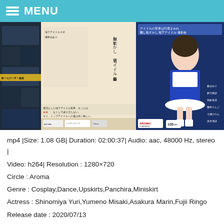MENU
[Figure (photo): DVD cover image of a Japanese idol video production, showing a young woman in a blue and white costume. Contains Japanese text and branding for Aroma Planning.]
mp4 |Size: 1.08 GB| Duration: 02:00:37| Audio: aac, 48000 Hz, stereo | Video: h264| Resolution : 1280×720
Circle : Aroma
Genre : Cosplay,Dance,Upskirts,Panchira,Miniskirt
Actress : Shinomiya Yuri,Yumeno Misaki,Asakura Marin,Fujii Ringo
Release date : 2020/07/13